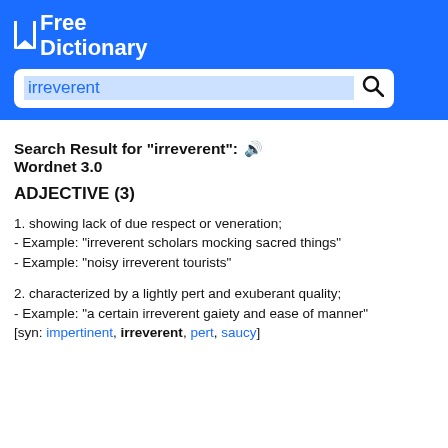[Figure (logo): The Free Dictionary logo: bookmark icon and white text 'Free Dictionary' on blue background]
irreverent
Search Result for "irreverent": Wordnet 3.0
ADJECTIVE (3)
1. showing lack of of due respect or veneration;
- Example: "irreverent scholars mocking sacred things"
- Example: "noisy irreverent tourists"
2. characterized by a lightly pert and exuberant quality;
- Example: "a certain irreverent gaiety and ease of manner"
[syn: impertinent, irreverent, pert, saucy]